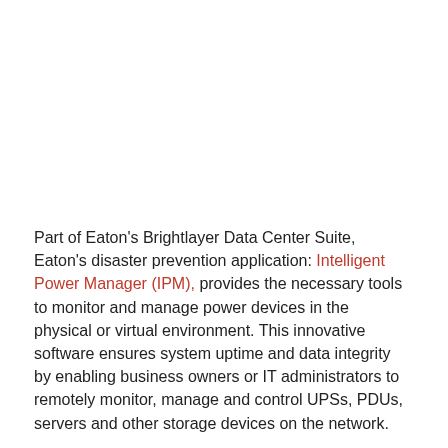Part of Eaton's Brightlayer Data Center Suite, Eaton's disaster prevention application: Intelligent Power Manager (IPM), provides the necessary tools to monitor and manage power devices in the physical or virtual environment. This innovative software ensures system uptime and data integrity by enabling business owners or IT administrators to remotely monitor, manage and control UPSs, PDUs, servers and other storage devices on the network.
One of the key features of the IPM system is the graceful